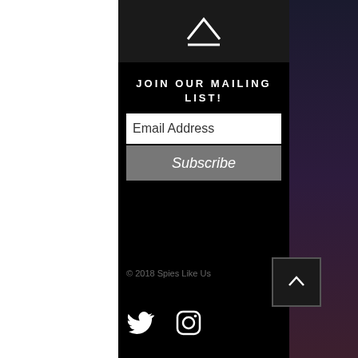[Figure (logo): Logo graphic with arrow/chevron symbol on dark background]
JOIN OUR MAILING LIST!
Email Address
Subscribe
© 2018 Spies Like Us
[Figure (illustration): Twitter bird icon and Instagram icon in white]
[Figure (other): Back to top arrow button with border]